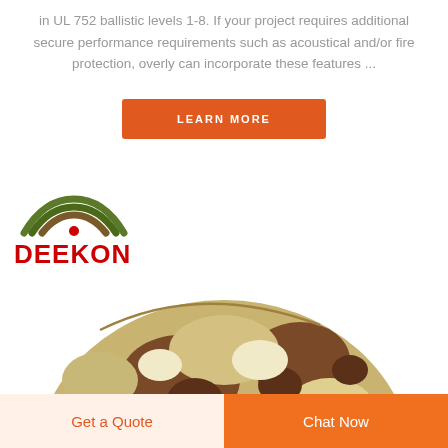in UL 752 ballistic levels 1-8. If your project requires additional secure performance requirements such as acoustical and/or fire protection, overly can incorporate these features ...
LEARN MORE
[Figure (logo): DEEKON logo with red bold text and green/brown camouflage arc symbol above]
[Figure (photo): Camouflage military helmet in brown, tan, and green desert pattern, partially visible from top]
Get a Quote
Chat Now